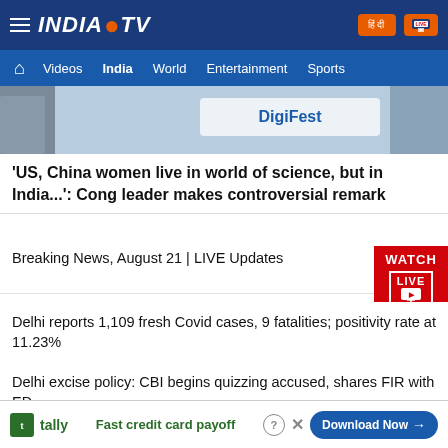INDIA TV — Navigation: Videos, India, World, Entertainment, Sports
[Figure (photo): Partial image of a DigiFest event banner with a person in background]
'US, China women live in world of science, but in India...': Cong leader makes controversial remark
Breaking News, August 21 | LIVE Updates
Delhi reports 1,109 fresh Covid cases, 9 fatalities; positivity rate at 11.23%
Delhi excise policy: CBI begins quizzing accused, shares FIR with ED
Chhattisgarh: Two killed in separate elephant attacks in Jashpur
Ad: Tally — Fast credit card payoff — Download Now